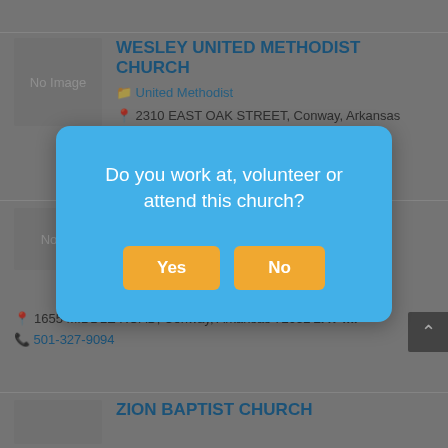[Figure (screenshot): No Image placeholder box for Wesley United Methodist Church]
WESLEY UNITED METHODIST CHURCH
United Methodist
2310 EAST OAK STREET, Conway, Arkansas 72032  2.46 mi
[Figure (screenshot): Modal dialog box asking: Do you work at, volunteer or attend this church? with Yes and No buttons]
1655 MIDDLE ROAD, Conway, Arkansas 72032  2.47 mi
501-327-9094
ZION BAPTIST CHURCH